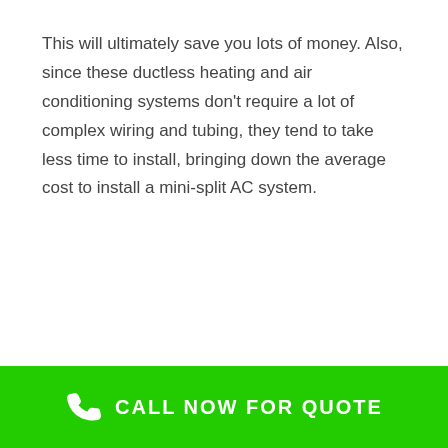This will ultimately save you lots of money. Also, since these ductless heating and air conditioning systems don't require a lot of complex wiring and tubing, they tend to take less time to install, bringing down the average cost to install a mini-split AC system.
CALL NOW FOR QUOTE